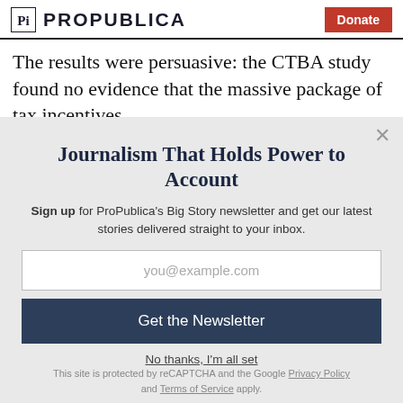ProPublica | Donate
The results were persuasive: the CTBA study found no evidence that the massive package of tax incentives
Journalism That Holds Power to Account
Sign up for ProPublica's Big Story newsletter and get our latest stories delivered straight to your inbox.
you@example.com
Get the Newsletter
No thanks, I'm all set
This site is protected by reCAPTCHA and the Google Privacy Policy and Terms of Service apply.